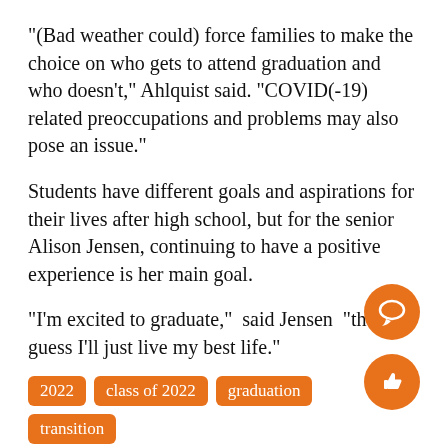“(Bad weather could) force families to make the choice on who gets to attend graduation and who doesn’t,” Ahlquist said. “COVID(-19) related preoccupations and problems may also pose an issue.”
Students have different goals and aspirations for their lives after high school, but for the senior Alison Jensen, continuing to have a positive experience is her main goal.
“I’m excited to graduate,”  said Jensen  “then I guess I’ll just live my best life.”
2022
class of 2022
graduation
transition
[Figure (illustration): Orange circle with white speech bubble / comment icon]
[Figure (illustration): Orange circle with white thumbs-up icon]